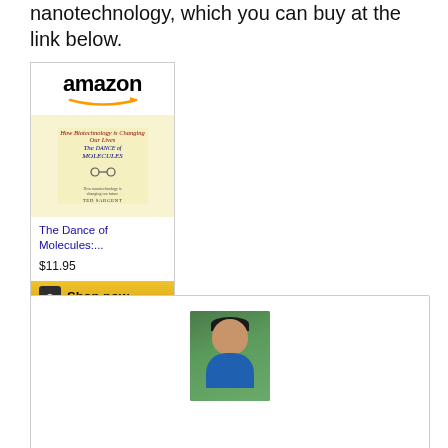nanotechnology, which you can buy at the link below.
[Figure (other): Amazon product listing for 'The Dance of Molecules' book, priced at $11.95, with a Shop now button]
The Dance of Molecules:...
$11.95
[Figure (photo): Headshot of an Asian man smiling, wearing a blue shirt, with green trees in the background]